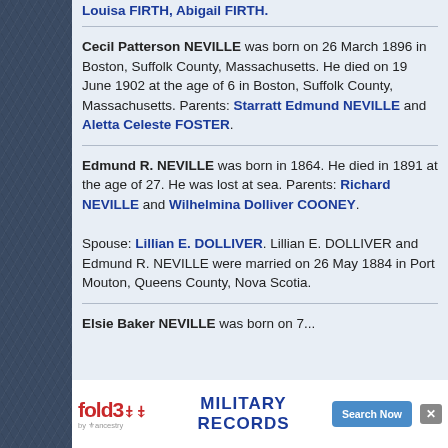Louisa FIRTH, Abigail FIRTH.
Cecil Patterson NEVILLE was born on 26 March 1896 in Boston, Suffolk County, Massachusetts. He died on 19 June 1902 at the age of 6 in Boston, Suffolk County, Massachusetts. Parents: Starratt Edmund NEVILLE and Aletta Celeste FOSTER.
Edmund R. NEVILLE was born in 1864. He died in 1891 at the age of 27. He was lost at sea. Parents: Richard NEVILLE and Wilhelmina Dolliver COONEY. Spouse: Lillian E. DOLLIVER. Lillian E. DOLLIVER and Edmund R. NEVILLE were married on 26 May 1884 in Port Mouton, Queens County, Nova Scotia.
Elsie Baker NEVILLE was born on 7...
[Figure (screenshot): fold3 by Ancestry advertisement banner - MILITARY RECORDS Search Now]